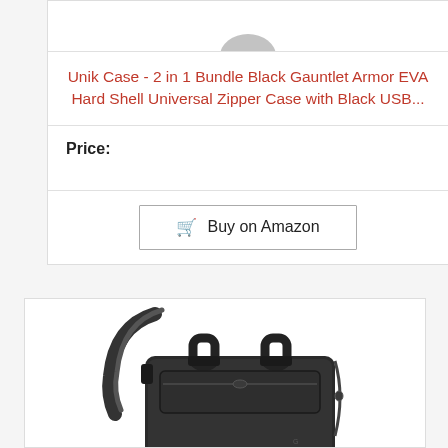[Figure (photo): Top portion of a product image (partially visible at top of page)]
Unik Case - 2 in 1 Bundle Black Gauntlet Armor EVA Hard Shell Universal Zipper Case with Black USB...
Price:
Buy on Amazon
[Figure (photo): Black laptop bag / briefcase with top handles, shoulder strap, and front zipper pocket]